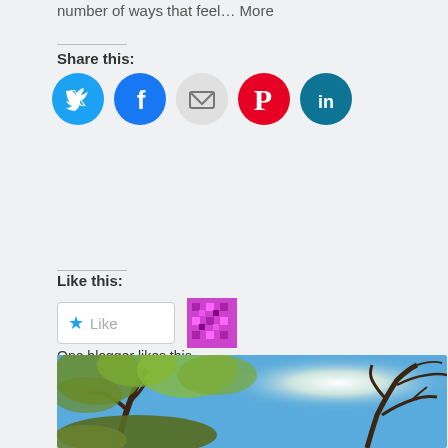number of ways that feel… More
Share this:
[Figure (infographic): Social sharing icons: Twitter (blue circle), Facebook (blue circle), Email (grey circle), Pinterest (red circle), LinkedIn (teal circle)]
Like this:
[Figure (infographic): Like button with star icon and text 'Like', next to a pixel-art style avatar image]
One blogger likes this.
[Figure (infographic): Action bar with comment bubble and link icon on a blue-grey background]
[Figure (photo): Photo of tree branches with green leaves against a blue sky with bright sun shining through]